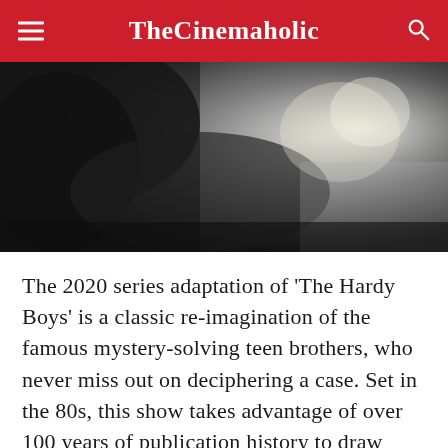TheCinemaholic
[Figure (photo): A person leaning over a surface, wearing a dark jacket, photographed in a dark cinematic style. Light source visible in the background right.]
The 2020 series adaptation of 'The Hardy Boys' is a classic re-imagination of the famous mystery-solving teen brothers, who never miss out on deciphering a case. Set in the 80s, this show takes advantage of over 100 years of publication history to draw inspiration from. Although the tone is a bit dark, the story is extremely gritty — keeping you on your toes until the end. Moreover, since the tale is set in an era, before the